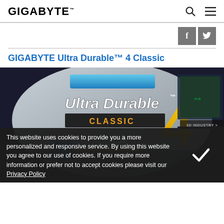GIGABYTE
[Figure (logo): GIGABYTE logo with search and menu icons in the header]
[Figure (infographic): Social media share buttons: Facebook and Twitter]
GIGABYTE Ultra Durable™ 4 Classic
[Figure (photo): Product promotional image for GIGABYTE Ultra Durable 4 Classic motherboard featuring Humidity Protection branding and '3D INDUSTRY' badge. A cookie consent overlay is shown at the bottom.]
This website uses cookies to provide you a more personalized and responsive service. By using this website you agree to our use of cookies. If you require more information or prefer not to accept cookies please visit our Privacy Policy